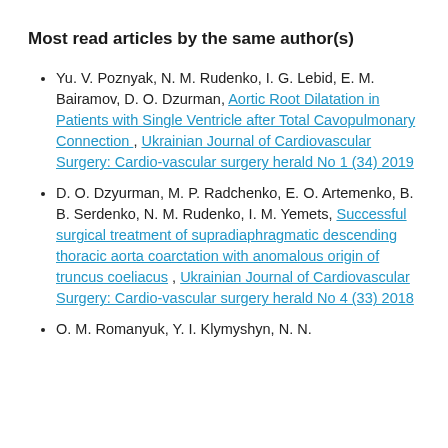Most read articles by the same author(s)
Yu. V. Poznyak, N. M. Rudenko, I. G. Lebid, E. M. Bairamov, D. O. Dzurman, Aortic Root Dilatation in Patients with Single Ventricle after Total Cavopulmonary Connection , Ukrainian Journal of Cardiovascular Surgery: Cardio-vascular surgery herald No 1 (34) 2019
D. O. Dzyurman, M. P. Radchenko, E. O. Artemenko, B. B. Serdenko, N. M. Rudenko, I. M. Yemets, Successful surgical treatment of supradiaphragmatic descending thoracic aorta coarctation with anomalous origin of truncus coeliacus , Ukrainian Journal of Cardiovascular Surgery: Cardio-vascular surgery herald No 4 (33) 2018
O. M. Romanyuk, Y. I. Klymyshyn, N. N. ...